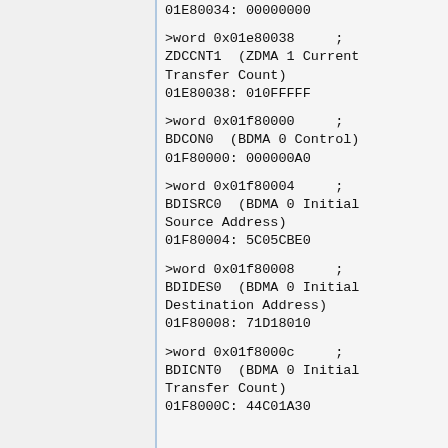01E80034: 00000000
>word 0x01e80038     ;
ZDCCNT1  (ZDMA 1 Current
Transfer Count)
01E80038: 010FFFFF
>word 0x01f80000     ;
BDCON0  (BDMA 0 Control)
01F80000: 000000A0
>word 0x01f80004     ;
BDISRC0  (BDMA 0 Initial
Source Address)
01F80004: 5C05CBE0
>word 0x01f80008     ;
BDIDES0  (BDMA 0 Initial
Destination Address)
01F80008: 71D18010
>word 0x01f8000c     ;
BDICNT0  (BDMA 0 Initial
Transfer Count)
01F8000C: 44C01A30